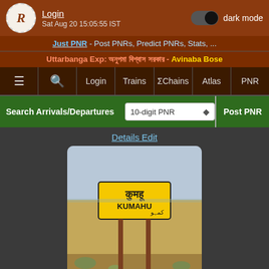Login | Sat Aug 20 15:05:55 IST | dark mode
Just PNR - Post PNRs, Predict PNRs, Stats, ...
Uttarbanga Exp: [Bengali text] - Avinaba Bose
≡ | Search | Login | Trains | ΣChains | Atlas | PNR
Search Arrivals/Departures | 10-digit PNR | Post PNR
Details Edit
[Figure (photo): Railway station name board showing KUMAHU in Hindi, English, and Urdu script on a yellow board with black text, mounted on poles in a rural setting]
Entry# 2229555-0
Departures from KMGE/Kumahu (2 PFs)